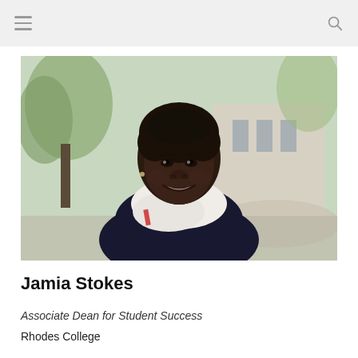[Figure (photo): Headshot photo of Jamia Stokes, a woman with short natural hair, wearing a dark blazer and white scarf, smiling outdoors in front of a stone building and trees.]
Jamia Stokes
Associate Dean for Student Success
Rhodes College